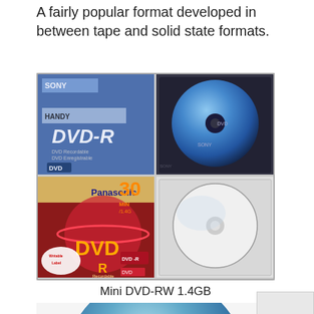A fairly popular format developed in between tape and solid state formats.
[Figure (photo): Four mini DVD cases and discs: top-left shows Sony Handycam DVD-R packaging (blue), top-right shows a Sony DVD-R mini disc in clear case, bottom-left shows Panasonic 30 MIN DVD-R packaging with writable label, bottom-right shows a plain mini disc in clear case]
Mini DVD-RW 1.4GB
[Figure (photo): Close-up of a mini DVD disc showing its blue iridescent surface, partially visible at bottom of page]